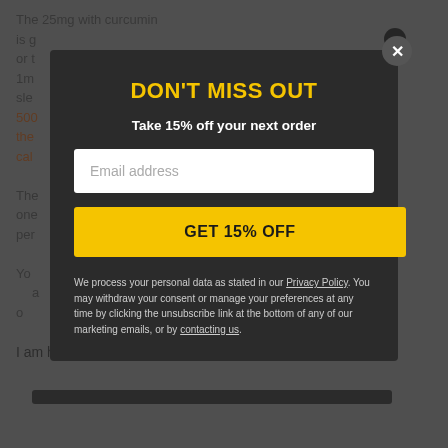The 25mg with curcumin is g... or t... 1m... sle... 500... the... cal...
The... one... per...
Yo... a... o...
I am here to support your journey of wellness and natural
[Figure (screenshot): Modal popup with dark background. Title: DON'T MISS OUT in yellow bold text. Subtitle: Take 15% off your next order. Email address input field. Yellow CTA button: GET 15% OFF. Privacy policy text below. Close button (X) in top right corner.]
DON'T MISS OUT
Take 15% off your next order
Email address
GET 15% OFF
We process your personal data as stated in our Privacy Policy. You may withdraw your consent or manage your preferences at any time by clicking the unsubscribe link at the bottom of any of our marketing emails, or by contacting us.